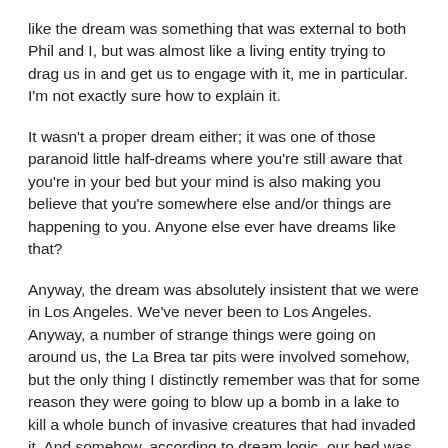like the dream was something that was external to both Phil and I, but was almost like a living entity trying to drag us in and get us to engage with it, me in particular. I'm not exactly sure how to explain it.
It wasn't a proper dream either; it was one of those paranoid little half-dreams where you're still aware that you're in your bed but your mind is also making you believe that you're somewhere else and/or things are happening to you. Anyone else ever have dreams like that?
Anyway, the dream was absolutely insistent that we were in Los Angeles. We've never been to Los Angeles. Anyway, a number of strange things were going on around us, the La Brea tar pits were involved somehow, but the only thing I distinctly remember was that for some reason they were going to blow up a bomb in a lake to kill a whole bunch of invasive creatures that had invaded it. And somehow, according to dream logic, our bed was going to be where the bomb was detonated. It gave us the irrational urge to flee to the bathroom where we'd be safe from the blast. We were worried the bomb was going to fling us into the wall of the bedroom, but we figured if we stayed in the